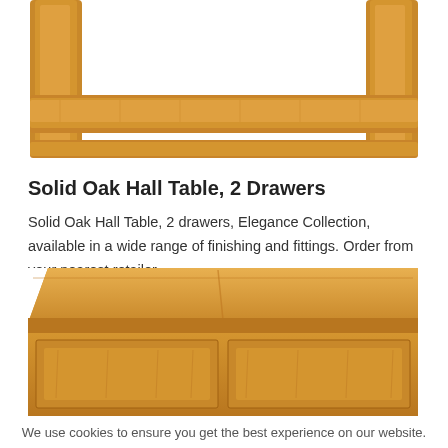[Figure (photo): Close-up photo of the underside/shelf of a solid oak hall table showing oak wood grain and legs]
Solid Oak Hall Table, 2 Drawers
Solid Oak Hall Table, 2 drawers, Elegance Collection, available in a wide range of finishing and fittings. Order from your nearest retailer.
[Figure (photo): Close-up angled photo of the top and front drawers of a solid oak hall table showing two panelled drawers and oak wood grain surface]
We use cookies to ensure you get the best experience on our website.